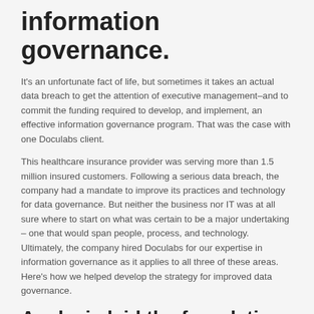information governance.
It's an unfortunate fact of life, but sometimes it takes an actual data breach to get the attention of executive management–and to commit the funding required to develop, and implement, an effective information governance program. That was the case with one Doculabs client.
This healthcare insurance provider was serving more than 1.5 million insured customers. Following a serious data breach, the company had a mandate to improve its practices and technology for data governance. But neither the business nor IT was at all sure where to start on what was certain to be a major undertaking – one that would span people, process, and technology. Ultimately, the company hired Doculabs for our expertise in information governance as it applies to all three of these areas. Here's how we helped develop the strategy for improved data governance.
Analysis laid the foundation for strategy and remediation.